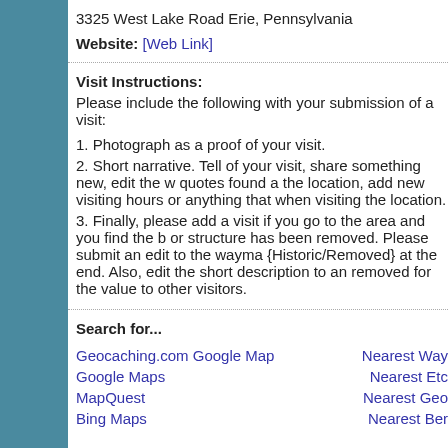3325 West Lake Road Erie, Pennsylvania
Website: [Web Link]
Visit Instructions:
Please include the following with your submission of a visit:
1. Photograph as a proof of your visit.
2. Short narrative. Tell of your visit, share something new, edit the w quotes found a the location, add new visiting hours or anything that when visiting the location.
3. Finally, please add a visit if you go to the area and you find the b or structure has been removed. Please submit an edit to the wayma {Historic/Removed} at the end. Also, edit the short description to an removed for the value to other visitors.
Search for...
Geocaching.com Google Map
Nearest Way
Google Maps
Nearest Etc
MapQuest
Nearest Geo
Bing Maps
Nearest Ber